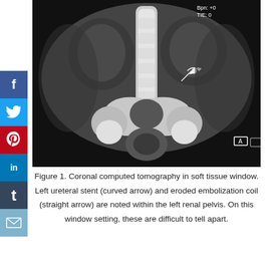[Figure (photo): Coronal CT scan in soft tissue window showing left ureteral stent (curved arrow) and eroded embolization coil (straight arrow) within the left renal pelvis. Label 'A' in lower right corner. Scanner metadata 'Bpn: +0 TIE: 0' visible in upper right.]
Figure 1. Coronal computed tomography in soft tissue window. Left ureteral stent (curved arrow) and eroded embolization coil (straight arrow) are noted within the left renal pelvis. On this window setting, these are difficult to tell apart.